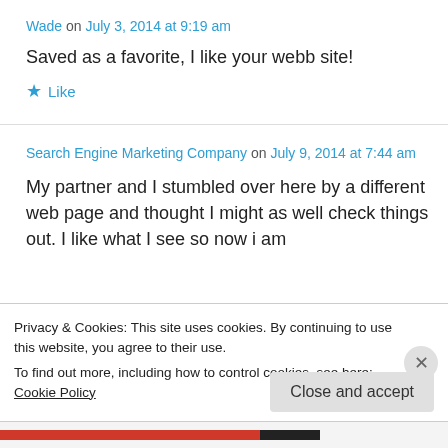Wade on July 3, 2014 at 9:19 am
Saved as a favorite, I like your webb site!
★ Like
Search Engine Marketing Company on July 9, 2014 at 7:44 am
My partner and I stumbled over here by a different web page and thought I might as well check things out. I like what I see so now i am
Privacy & Cookies: This site uses cookies. By continuing to use this website, you agree to their use.
To find out more, including how to control cookies, see here: Cookie Policy
Close and accept